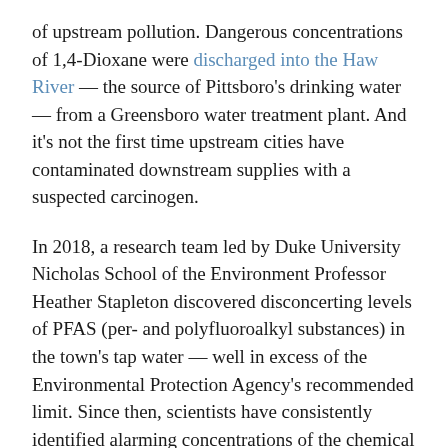of upstream pollution. Dangerous concentrations of 1,4-Dioxane were discharged into the Haw River — the source of Pittsboro's drinking water — from a Greensboro water treatment plant. And it's not the first time upstream cities have contaminated downstream supplies with a suspected carcinogen.
In 2018, a research team led by Duke University Nicholas School of the Environment Professor Heather Stapleton discovered disconcerting levels of PFAS (per- and polyfluoroalkyl substances) in the town's tap water — well in excess of the Environmental Protection Agency's recommended limit. Since then, scientists have consistently identified alarming concentrations of the chemical family in Pittsboro's water.
“There are multiple known sources of contamination stemming from within the